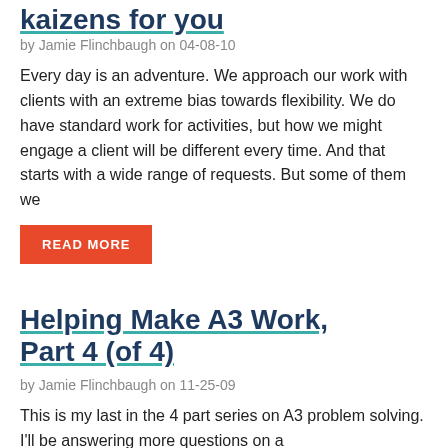kaizens for you
by Jamie Flinchbaugh on 04-08-10
Every day is an adventure. We approach our work with clients with an extreme bias towards flexibility. We do have standard work for activities, but how we might engage a client will be different every time. And that starts with a wide range of requests. But some of them we
READ MORE
Helping Make A3 Work, Part 4 (of 4)
by Jamie Flinchbaugh on 11-25-09
This is my last in the 4 part series on A3 problem solving. I'll be answering more questions on a